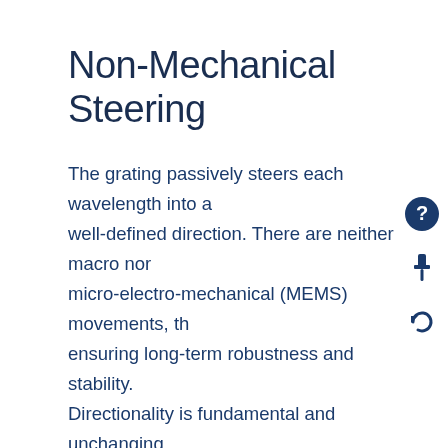Non-Mechanical Steering
The grating passively steers each wavelength into a well-defined direction. There are neither macro nor micro-electro-mechanical (MEMS) movements, thus ensuring long-term robustness and stability. Directionality is fundamental and unchanging, significantly easing calibration requirements.
Flat as a 1 mm pancake
Fused silica transmission gratings are flat and thin